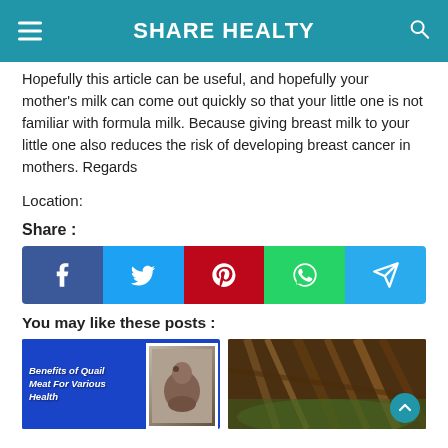SHARE HEALTY
Hopefully this article can be useful, and hopefully your mother's milk can come out quickly so that your little one is not familiar with formula milk. Because giving breast milk to your little one also reduces the risk of developing breast cancer in mothers. Regards
Location:
Share :
[Figure (infographic): Social share buttons: Facebook (dark blue), Twitter (light blue), Pinterest (red), WhatsApp (green), Telegram (teal/blue)]
You may like these posts :
[Figure (infographic): Two post thumbnail images side by side. Left: blue background with text 'Benefits of Quail Meat For Various Health' and a small bird photo. Right: photo of brown roots/plants on green leaves.]